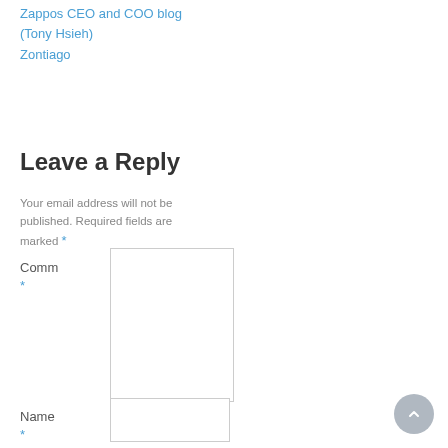Zappos CEO and COO blog (Tony Hsieh)
Zontiago
Leave a Reply
Your email address will not be published. Required fields are marked *
Comment *
Name *